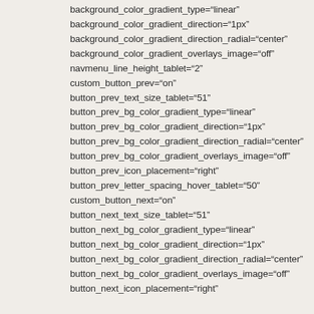background_color_gradient_type="linear"
background_color_gradient_direction="1px"
background_color_gradient_direction_radial="center"
background_color_gradient_overlays_image="off"
navmenu_line_height_tablet="2"
custom_button_prev="on"
button_prev_text_size_tablet="51"
button_prev_bg_color_gradient_type="linear"
button_prev_bg_color_gradient_direction="1px"
button_prev_bg_color_gradient_direction_radial="center"
button_prev_bg_color_gradient_overlays_image="off"
button_prev_icon_placement="right"
button_prev_letter_spacing_hover_tablet="50"
custom_button_next="on"
button_next_text_size_tablet="51"
button_next_bg_color_gradient_type="linear"
button_next_bg_color_gradient_direction="1px"
button_next_bg_color_gradient_direction_radial="center"
button_next_bg_color_gradient_overlays_image="off"
button_next_icon_placement="right"